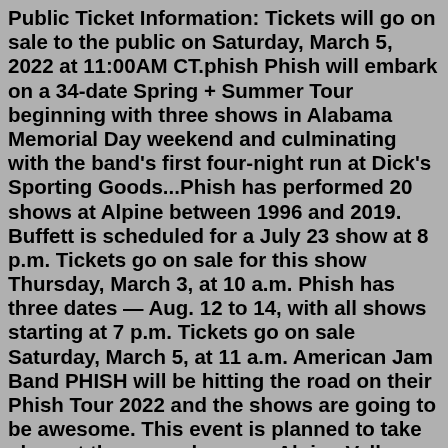Public Ticket Information: Tickets will go on sale to the public on Saturday, March 5, 2022 at 11:00AM CT.phish Phish will embark on a 34-date Spring + Summer Tour beginning with three shows in Alabama Memorial Day weekend and culminating with the band's first four-night run at Dick's Sporting Goods...Phish has performed 20 shows at Alpine between 1996 and 2019. Buffett is scheduled for a July 23 show at 8 p.m. Tickets go on sale for this show Thursday, March 3, at 10 a.m. Phish has three dates — Aug. 12 to 14, with all shows starting at 7 p.m. Tickets go on sale Saturday, March 5, at 11 a.m. American Jam Band PHISH will be hitting the road on their Phish Tour 2022 and the shows are going to be awesome. This event is planned to take place at the venue know as Alpine Valley Music Theatre which is located in East Troy, WI.The show is scheduled for the date of August 13th, 2022.For exact start time please see time printed on your ticket(s).. For full event information or to look for ...Hands-down the greatest jam band since the Grateful Dead, Phish